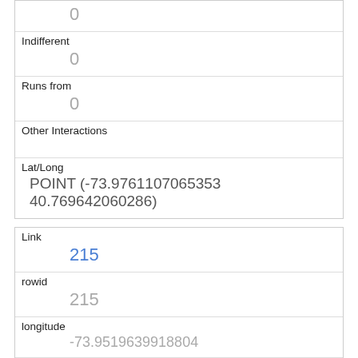| 0 |
| Indifferent | 0 |
| Runs from | 0 |
| Other Interactions |  |
| Lat/Long | POINT (-73.9761107065353 40.769642060286) |
| Link | 215 |
| rowid | 215 |
| longitude | -73.9519639918804 |
| latitude | 40.79499117023921 |
| Unique Squirrel ID | 39H-AM-1007-01 |
| Hectare |  |